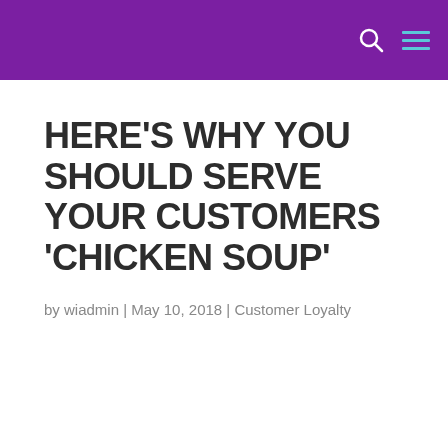HERE'S WHY YOU SHOULD SERVE YOUR CUSTOMERS 'CHICKEN SOUP'
by wiadmin | May 10, 2018 | Customer Loyalty